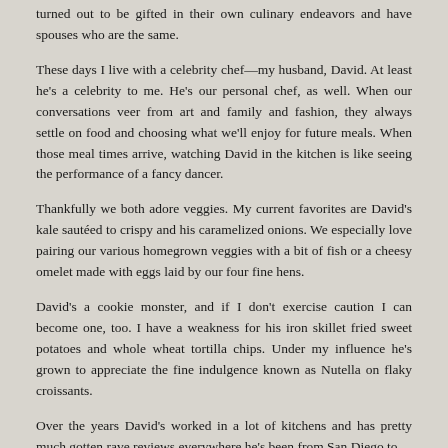turned out to be gifted in their own culinary endeavors and have spouses who are the same.
These days I live with a celebrity chef—my husband, David. At least he's a celebrity to me. He's our personal chef, as well. When our conversations veer from art and family and fashion, they always settle on food and choosing what we'll enjoy for future meals. When those meal times arrive, watching David in the kitchen is like seeing the performance of a fancy dancer.
Thankfully we both adore veggies. My current favorites are David's kale sautéed to crispy and his caramelized onions. We especially love pairing our various homegrown veggies with a bit of fish or a cheesy omelet made with eggs laid by our four fine hens.
David's a cookie monster, and if I don't exercise caution I can become one, too. I have a weakness for his iron skillet fried sweet potatoes and whole wheat tortilla chips. Under my influence he's grown to appreciate the fine indulgence known as Nutella on flaky croissants.
Over the years David's worked in a lot of kitchens and has pretty much gotten rave reviews everywhere he's been from San Diego to